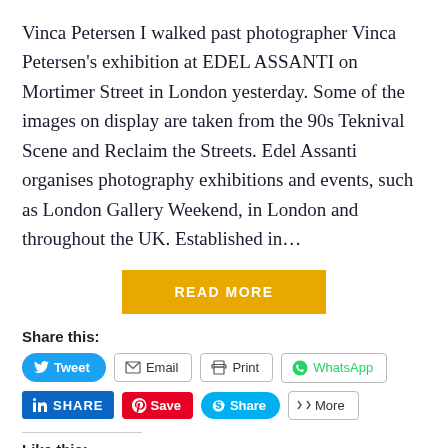Vinca Petersen I walked past photographer Vinca Petersen's exhibition at EDEL ASSANTI on Mortimer Street in London yesterday. Some of the images on display are taken from the 90s Teknival Scene and Reclaim the Streets. Edel Assanti organises photography exhibitions and events, such as London Gallery Weekend, in London and throughout the UK. Established in…
READ MORE
Share this:
Tweet
Email
Print
WhatsApp
SHARE
Save
Share
More
Like this:
Like